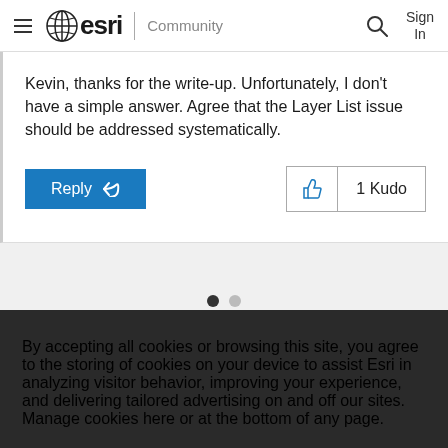esri | Community
Kevin, thanks for the write-up. Unfortunately, I don't have a simple answer. Agree that the Layer List issue should be addressed systematically.
Reply | 1 Kudo
By accepting all cookies or browsing this site, you agree to the storing of cookies on your device to assist Esri in analyzing visitor behavior, improving your experience, and delivering tailored advertising on and off our sites. Manage cookies here or at the bottom of any page.